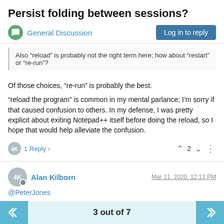Persist folding between sessions?
General Discussion
Log in to reply
Also “reload” is probably not the right term here; how about “restart” or “re-run”?
Of those choices, “re-run” is probably the best.
“reload the program” is common in my mental parlance; I’m sorry if that caused confusion to others. In my defense, I was pretty explicit about exiting Notepad++ itself before doing the reload, so I hope that would help alleviate the confusion.
1 Reply ›
2
Alan Kilborn
Mar 21, 2020, 12:13 PM
@PeterJones
3 out of 7